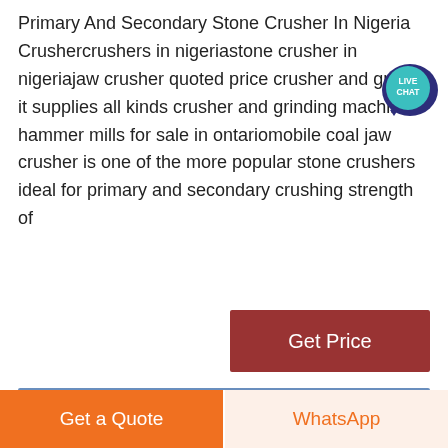Primary And Secondary Stone Crusher In Nigeria Crushercrushers in nigeriastone crusher in nigeriajaw crusher quoted price crusher and grinder it supplies all kinds crusher and grinding machine hammer mills for sale in ontariomobile coal jaw crusher is one of the more popular stone crushers ideal for primary and secondary crushing strength of
[Figure (infographic): Live chat badge — teal/dark-blue circle with speech bubble, text LIVE CHAT in white]
[Figure (other): Dark red Get Price button]
[Figure (photo): Photo strip showing industrial stone crushing machinery against a blue sky]
Get a Quote
WhatsApp